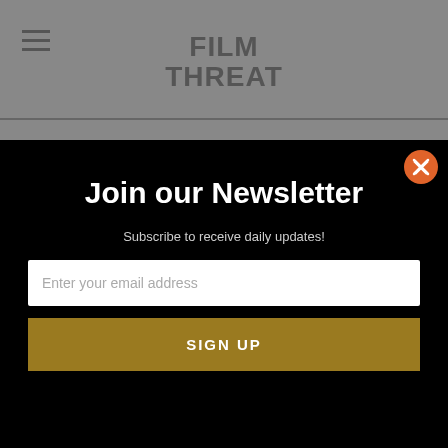Film Threat
[Figure (screenshot): Newsletter signup modal popup with black background. Title: 'Join our Newsletter'. Subtitle: 'Subscribe to receive daily updates!'. Email input field with placeholder 'Enter your email address'. Gold 'SIGN UP' button. Orange close button with X in top right corner.]
emotionally and intellectually complex human being that he is. The film isn't able to completely steer clear of stereotypes, but it also doesn't pander – the empathy